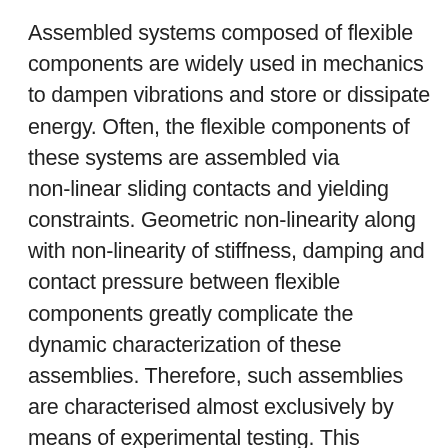Assembled systems composed of flexible components are widely used in mechanics to dampen vibrations and store or dissipate energy. Often, the flexible components of these systems are assembled via non-linear sliding contacts and yielding constraints. Geometric non-linearity along with non-linearity of stiffness, damping and contact pressure between flexible components greatly complicate the dynamic characterization of these assemblies. Therefore, such assemblies are characterised almost exclusively by means of experimental testing. This research analyses how classic ASME and ISO tolerance standards can be used to guarantee and control the conformity of these assembled systems with their functional requirements limiting the number of experimental tests. In particular the dependence of the dynamic behaviour upon functional tolerances is studied for a